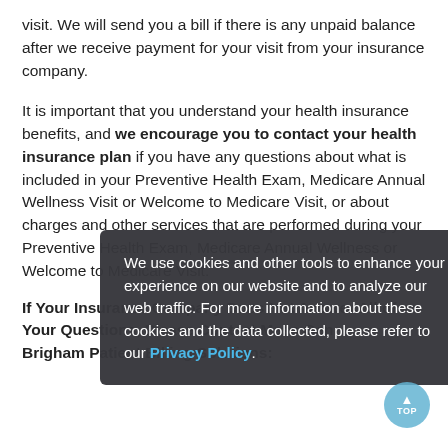visit. We will send you a bill if there is any unpaid balance after we receive payment for your visit from your insurance company.
It is important that you understand your health insurance benefits, and we encourage you to contact your health insurance plan if you have any questions about what is included in your Preventive Health Exam, Medicare Annual Wellness Visit or Welcome to Medicare Visit, or about charges and other services that are performed during your Preventive Health Exam, Medicare Annual Wellness or Welcome to Medicare Visit.
If Your Insurance Company Does Not Answer All of Your Questions, Please Contact Mass General Brigham Patient Billing Solutions:
[Figure (other): Cookie consent popup overlay with dark background. Text reads: 'We use cookies and other tools to enhance your experience on our website and to analyze our web traffic. For more information about these cookies and the data collected, please refer to our Privacy Policy.' With a close (x) button and a Privacy Policy link in blue.]